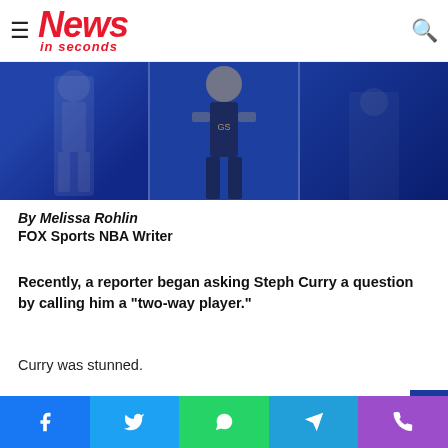News in seconds
[Figure (photo): Basketball players on court with blue background, NBA game scene with Golden State Warriors player]
By Melissa Rohlin
FOX Sports NBA Writer
Recently, a reporter began asking Steph Curry a question by calling him a "two-way player."
Curry was stunned.